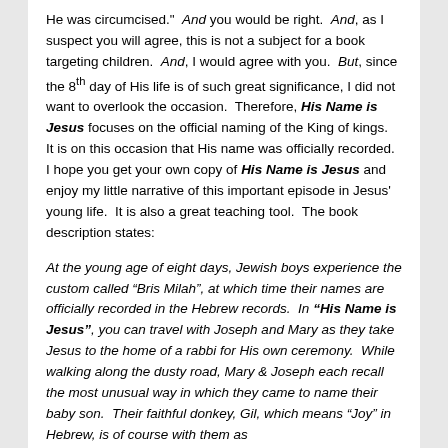He was circumcised." And you would be right. And, as I suspect you will agree, this is not a subject for a book targeting children. And, I would agree with you. But, since the 8th day of His life is of such great significance, I did not want to overlook the occasion. Therefore, His Name is Jesus focuses on the official naming of the King of kings. It is on this occasion that His name was officially recorded. I hope you get your own copy of His Name is Jesus and enjoy my little narrative of this important episode in Jesus' young life. It is also a great teaching tool. The book description states:
At the young age of eight days, Jewish boys experience the custom called “Bris Milah”, at which time their names are officially recorded in the Hebrew records. In “His Name is Jesus”, you can travel with Joseph and Mary as they take Jesus to the home of a rabbi for His own ceremony. While walking along the dusty road, Mary & Joseph each recall the most unusual way in which they came to name their baby son. Their faithful donkey, Gil, which means “Joy” in Hebrew, is of course with them as